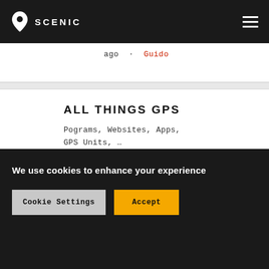SCENIC
ago · Guido
ALL THINGS GPS
Pograms, Websites, Apps, GPS Units, …
12 TOPICS · 65 POSTS
Last post: Map continues to stay in 'not down … · 2 days ago · Guido
We use cookies to enhance your experience